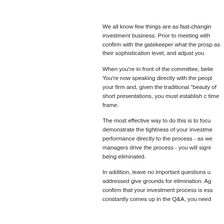We all know few things are as fast-changing as the investment business. Prior to meeting with confirm with the gatekeeper what the prospect's as their sophistication level, and adjust you
When you're in front of the committee, belie You're now speaking directly with the people your firm and, given the traditional "beauty of short presentations, you must establish c time frame.
The most effective way to do this is to focus demonstrate the tightness of your investme performance directly to the process - as we managers drive the process - you will signi being eliminated.
In addition, leave no important questions u addressed give grounds for elimination. Ag confirm that your investment process is ess constantly comes up in the Q&A, you need